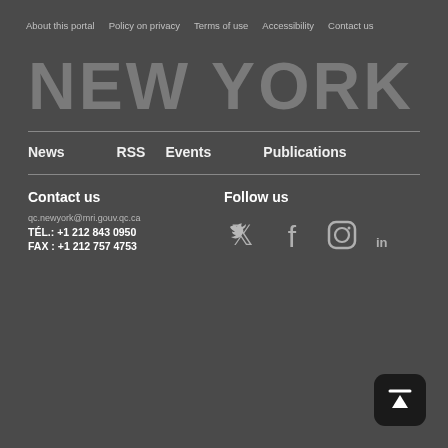About this portal  Policy on privacy  Terms of use  Accessibility  Contact us
NEW YORK
News
RSS
Events
Publications
Contact us
qc.newyork@mri.gouv.qc.ca
TÉL.: +1 212 843 0950
FAX : +1 212 757 4753
Follow us
[Figure (infographic): Social media icons: Twitter, Facebook, Instagram, LinkedIn]
[Figure (other): Back to top button with upward arrow]